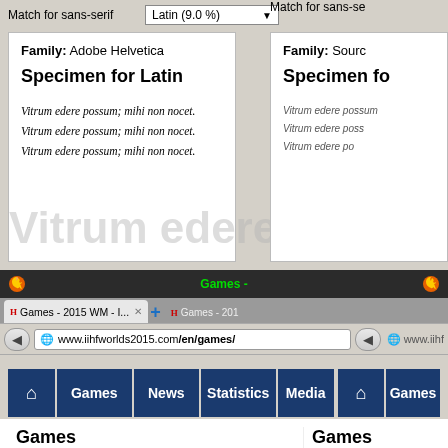Match for sans-serif
Latin (9.0 %)
Family: Adobe Helvetica
Specimen for Latin
Vitrum edere possum; mihi non nocet.
Vitrum edere possum; mihi non nocet.
Vitrum edere possum; mihi non nocet.
Match for sans-se
Family: Sourc
Specimen fo
Vitrum edere possum
Vitrum edere poss
Vitrum edere po
[Figure (screenshot): Firefox browser window showing Games - 2015 WM page at www.iihfworlds2015.com/en/games/]
Games - 2015 WM - I...
www.iihfworlds2015.com/en/games/
Games
News
Statistics
Media
Games
Phase: All
Team: All
Phase: All
Nr  Group  Date  Time
Nr  Group  D